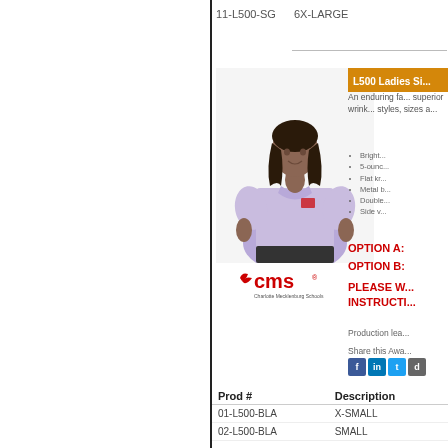11-L500-SG    6X-LARGE
[Figure (photo): Woman wearing a light purple/lavender ladies polo shirt, CMS logo on chest]
L500 Ladies Si...
An enduring fa... superior wrink... styles, sizes a...
Bright...
5-ounc...
Flat kr...
Metal b...
Double...
Side v...
OPTION A:
OPTION B:
PLEASE W... INSTRUCTI...
Production lea...
Share this Awa...
[Figure (logo): CMS - Charlotte Mecklenburg Schools logo]
| Prod # | Description |
| --- | --- |
| 01-L500-BLA | X-SMALL |
| 02-L500-BLA | SMALL |